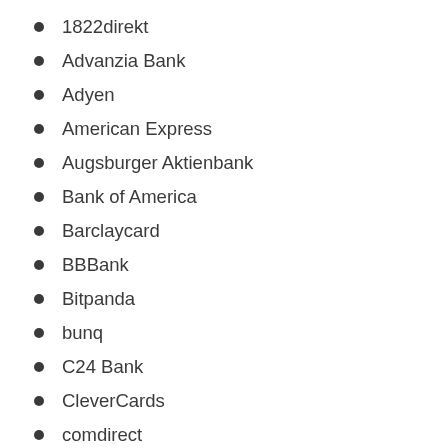1822direkt
Advanzia Bank
Adyen
American Express
Augsburger Aktienbank
Bank of America
Barclaycard
BBBank
Bitpanda
bunq
C24 Bank
CleverCards
comdirect
Commerzbank AG